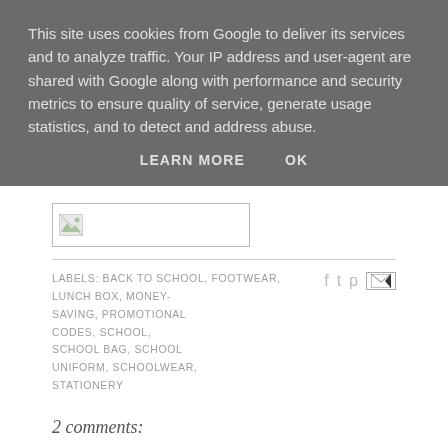This site uses cookies from Google to deliver its services and to analyze traffic. Your IP address and user-agent are shared with Google along with performance and security metrics to ensure quality of service, generate usage statistics, and to detect and address abuse.
LEARN MORE    OK
[Figure (other): Broken image placeholder with small image icon]
LABELS: BACK TO SCHOOL, FOOTWEAR, LUNCH BOX, MONEY-SAVING, PROMOTIONAL CODES, SCHOOL, SCHOOL BAG, SCHOOL UNIFORM, SCHOOLWEAR, STATIONERY
2 comments:
Sarah 26 August 2012 at 13:20